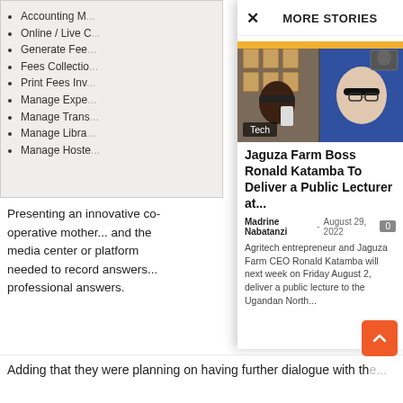[Figure (screenshot): Partial screenshot of a software interface showing a bullet list of features including Accounting, Online/Live, Generate Fees, Fees Collection, Print Fees Inv, Manage Expe, Manage Trans, Manage Libra, Manage Hoste]
Presenting an i... operative mothe... media center or... needed to recor... professional ans...
MORE STORIES
[Figure (photo): Photo of two people on a video call - one African man with headphones taking a selfie, one white man with glasses and headphones. Labeled 'Tech'.]
Jaguza Farm Boss Ronald Katamba To Deliver a Public Lecturer at...
Madrine Nabatanzi - August 29, 2022
Agritech entrepreneur and Jaguza Farm CEO Ronald Katamba will next week on Friday August 2, deliver a public lecture to the Ugandan North...
“The current hy... sensation than a... highly skilled pr... Dr.Namaara sai...
Adding that they were planning on having further dialogue with th...